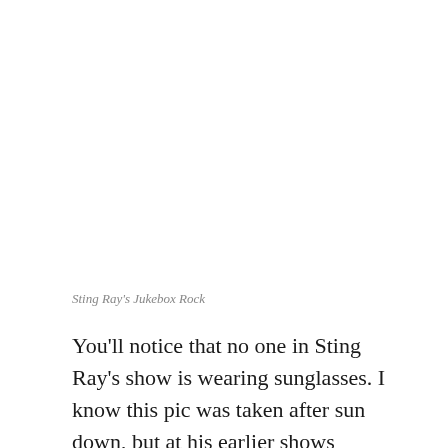Sting Ray's Jukebox Rock
You'll notice that no one in Sting Ray's show is wearing sunglasses. I know this pic was taken after sun down, but at his earlier shows while